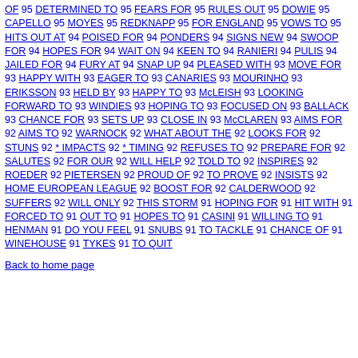OF 95 DETERMINED TO 95 FEARS FOR 95 RULES OUT 95 DOWIE 95 CAPELLO 95 MOYES 95 REDKNAPP 95 FOR ENGLAND 95 VOWS TO 95 HITS OUT AT 94 POISED FOR 94 PONDERS 94 SIGNS NEW 94 SWOOP FOR 94 HOPES FOR 94 WAIT ON 94 KEEN TO 94 RANIERI 94 PULIS 94 JAILED FOR 94 FURY AT 94 SNAP UP 94 PLEASED WITH 93 MOVE FOR 93 HAPPY WITH 93 EAGER TO 93 CANARIES 93 MOURINHO 93 ERIKSSON 93 HELD BY 93 HAPPY TO 93 McLEISH 93 LOOKING FORWARD TO 93 WINDIES 93 HOPING TO 93 FOCUSED ON 93 BALLACK 93 CHANCE FOR 93 SETS UP 93 CLOSE IN 93 McCLAREN 93 AIMS FOR 92 AIMS TO 92 WARNOCK 92 WHAT ABOUT THE 92 LOOKS FOR 92 STUNS 92 * IMPACTS 92 * TIMING 92 REFUSES TO 92 PREPARE FOR 92 SALUTES 92 FOR OUR 92 WILL HELP 92 TOLD TO 92 INSPIRES 92 ROEDER 92 PIETERSEN 92 PROUD OF 92 TO PROVE 92 INSISTS 92 HOME EUROPEAN LEAGUE 92 BOOST FOR 92 CALDERWOOD 92 SUFFERS 92 WILL ONLY 92 THIS STORM 91 HOPING FOR 91 HIT WITH 91 FORCED TO 91 OUT TO 91 HOPES TO 91 CASINI 91 WILLING TO 91 HENMAN 91 DO YOU FEEL 91 SNUBS 91 TO TACKLE 91 CHANCE OF 91 WINEHOUSE 91 TYKES 91 TO QUIT
Back to home page